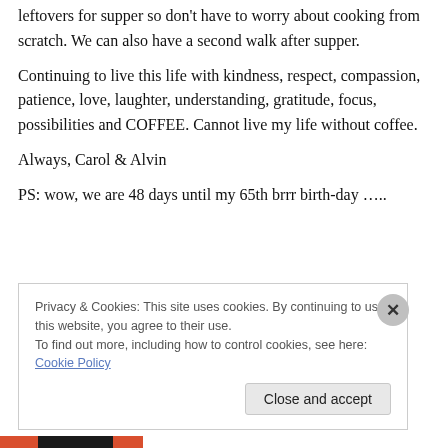leftovers for supper so don't have to worry about cooking from scratch. We can also have a second walk after supper.
Continuing to live this life with kindness, respect, compassion, patience, love, laughter, understanding, gratitude, focus, possibilities and COFFEE. Cannot live my life without coffee.
Always, Carol & Alvin
PS: wow, we are 48 days until my 65th brrr birth-day …..
Privacy & Cookies: This site uses cookies. By continuing to use this website, you agree to their use.
To find out more, including how to control cookies, see here: Cookie Policy
Close and accept